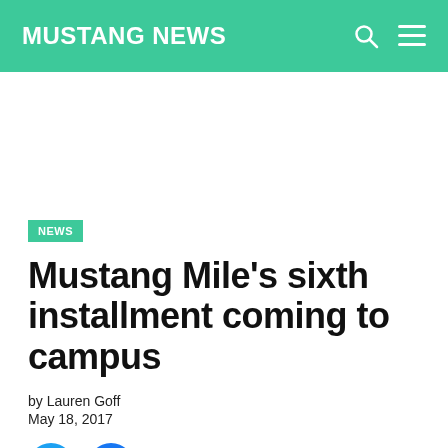MUSTANG NEWS
NEWS
Mustang Mile's sixth installment coming to campus
by Lauren Goff
May 18, 2017